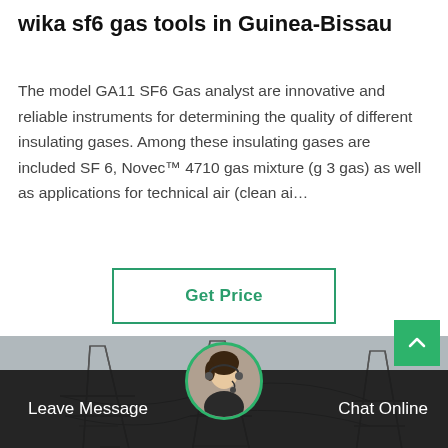wika sf6 gas tools in Guinea-Bissau
The model GA11 SF6 Gas analyst are innovative and reliable instruments for determining the quality of different insulating gases. Among these insulating gases are included SF 6, Novec™ 4710 gas mixture (g 3 gas) as well as applications for technical air (clean ai…
[Figure (other): Green bordered 'Get Price' button]
[Figure (photo): Photograph of electrical power transmission substation with high-voltage towers and power lines against overcast sky]
Leave Message   Chat Online